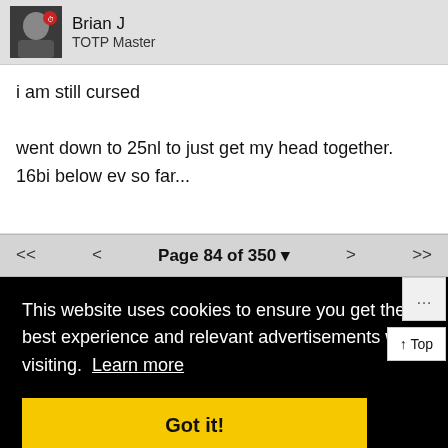[Figure (photo): User avatar showing a person or character with a small icon overlay]
Brian J
TOTP Master
i am still cursed

went down to 25nl to just get my head together. 16bi below ev so far...
<< < Page 84 of 350 ▼ > >>
This website uses cookies to ensure you get the best experience and relevant advertisements while visiting. Learn more
Got it!